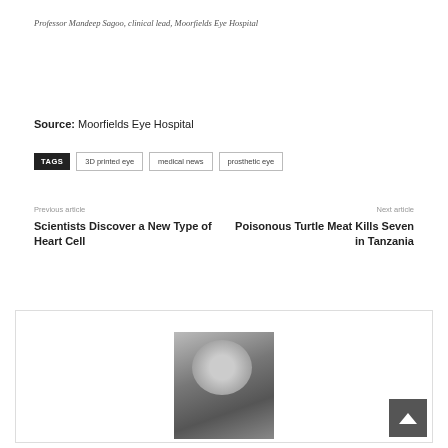Professor Mandeep Sagoo, clinical lead, Moorfields Eye Hospital
Source: Moorfields Eye Hospital
TAGS  3D printed eye  medical news  prosthetic eye
Previous article
Scientists Discover a New Type of Heart Cell
Next article
Poisonous Turtle Meat Kills Seven in Tanzania
[Figure (photo): Grayscale photograph of a person (author) in a bordered box at the bottom of the page]